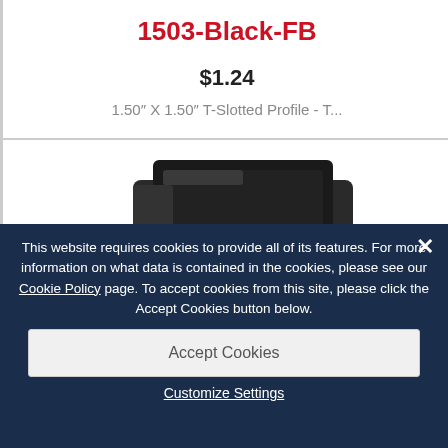1503-Black-FB
$1.24
1.50″ X 1.50″ T-Slotted Profile - T...
[Figure (photo): Dark T-slotted aluminum profile product photo, partially visible]
This website requires cookies to provide all of its features. For more information on what data is contained in the cookies, please see our Cookie Policy page. To accept cookies from this site, please click the Accept Cookies button below.
Accept Cookies
1517-Black-FB
Customize Settings